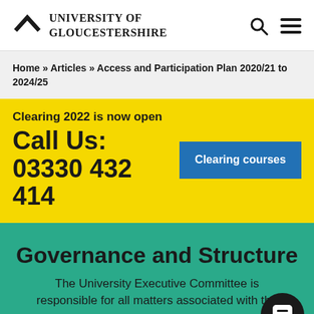UNIVERSITY OF GLOUCESTERSHIRE
Home » Articles » Access and Participation Plan 2020/21 to 2024/25
Clearing 2022 is now open
Call Us: 03330 432 414
Clearing courses
Governance and Structure
The University Executive Committee is responsible for all matters associated with the